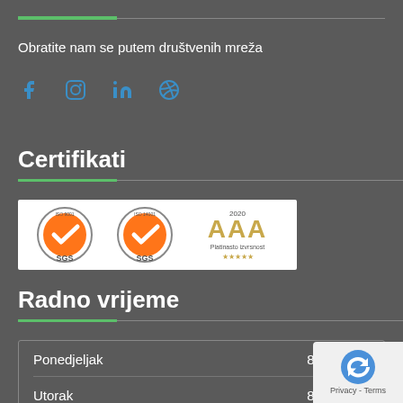Obratite nam se putem društvenih mreža
[Figure (illustration): Social media icons: Facebook, Instagram, LinkedIn, Dribbble — displayed in blue]
Certifikati
[Figure (logo): Three certification logos: two SGS certification marks and one AAA Platinasto izvrsnost 2020 award with five stars]
Radno vrijeme
|  |  |
| --- | --- |
| Ponedjeljak | 8:00 > 1… |
| Utorak | 8:00 > 1… |
| Srijeda | 8:00 > 16:00 |